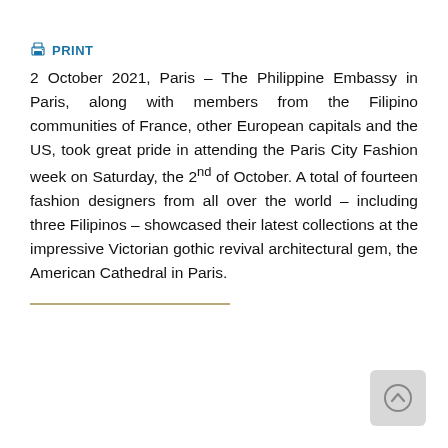PRINT
2 October 2021, Paris – The Philippine Embassy in Paris, along with members from the Filipino communities of France, other European capitals and the US, took great pride in attending the Paris City Fashion week on Saturday, the 2nd of October. A total of fourteen fashion designers from all over the world – including three Filipinos – showcased their latest collections at the impressive Victorian gothic revival architectural gem, the American Cathedral in Paris.